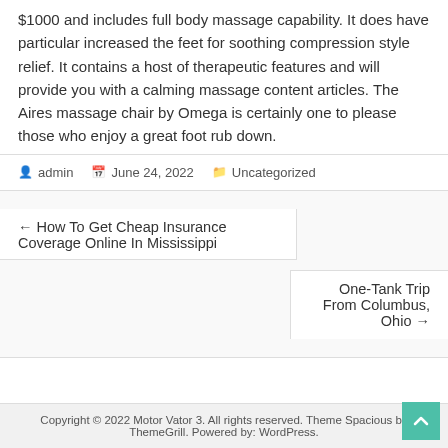$1000 and includes full body massage capability. It does have particular increased the feet for soothing compression style relief. It contains a host of therapeutic features and will provide you with a calming massage content articles. The Aires massage chair by Omega is certainly one to please those who enjoy a great foot rub down.
admin   June 24, 2022   Uncategorized
← How To Get Cheap Insurance Coverage Online In Mississippi
One-Tank Trip From Columbus, Ohio →
Copyright © 2022 Motor Vator 3. All rights reserved. Theme Spacious by ThemeGrill. Powered by: WordPress.